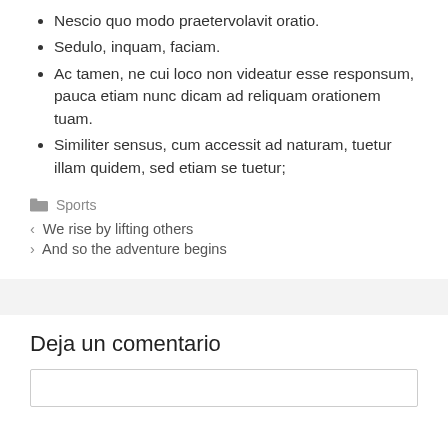Nescio quo modo praetervolavit oratio.
Sedulo, inquam, faciam.
Ac tamen, ne cui loco non videatur esse responsum, pauca etiam nunc dicam ad reliquam orationem tuam.
Similiter sensus, cum accessit ad naturam, tuetur illam quidem, sed etiam se tuetur;
Sports
< We rise by lifting others
> And so the adventure begins
Deja un comentario